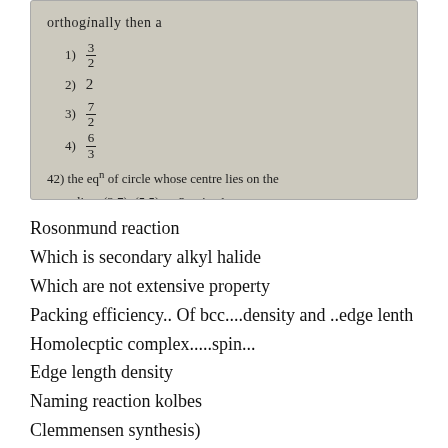[Figure (photo): Handwritten math exam notes. Top text reads 'orthogonally then a'. List items: 1) 3/2, 2) 2, 3) 7/2, 4) 6/3. Question 42: The eq of circle whose centre lies on the line (3,7) (5,5) → 2x-4y=1]
Rosonmund reaction
Which is secondary alkyl halide
Which are not extensive property
Packing efficiency.. Of bcc....density and ..edge lenth
Homolecptic complex.....spin...
Edge length density
Naming reaction kolbes
Clemmensen synthesis)